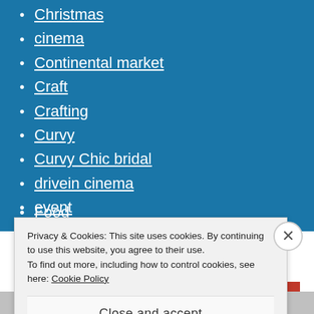Christmas
cinema
Continental market
Craft
Crafting
Curvy
Curvy Chic bridal
drivein cinema
event
fashion
Food
Privacy & Cookies: This site uses cookies. By continuing to use this website, you agree to their use.
To find out more, including how to control cookies, see here: Cookie Policy
Close and accept